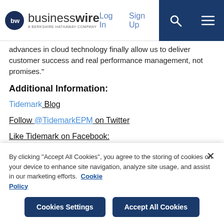businesswire — A BERKSHIRE HATHAWAY COMPANY | Log In | Sign Up
advances in cloud technology finally allow us to deliver customer success and real performance management, not promises."
Additional Information:
Tidemark Blog
Follow @TidemarkEPM on Twitter
Like Tidemark on Facebook:
http://www.facebook.com/TidemarkEPM
By clicking "Accept All Cookies", you agree to the storing of cookies on your device to enhance site navigation, analyze site usage, and assist in our marketing efforts. Cookie Policy
Cookies Settings | Accept All Cookies